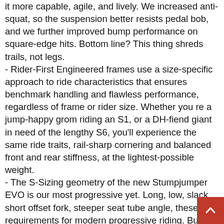it more capable, agile, and lively. We increased anti-squat, so the suspension better resists pedal bob, and we further improved bump performance on square-edge hits. Bottom line? This thing shreds trails, not legs.
- Rider-First Engineered frames use a size-specific approach to ride characteristics that ensures benchmark handling and flawless performance, regardless of frame or rider size. Whether you re a jump-happy grom riding an S1, or a DH-fiend giant in need of the lengthy S6, you'll experience the same ride traits, rail-sharp cornering and balanced front and rear stiffness, at the lightest-possible weight.
- The S-Sizing geometry of the new Stumpjumper EVO is our most progressive yet. Long, low, slack, short offset fork, steeper seat tube angle, these are requirements for modern progressive riding. But not everyone jibs the same way, which is why the geo on the new Stumpjumper EVO is fully adjustable with six different settings. You can adjust the BB height by 10mm, you can adjust your head angle by two-degrees, and you can make these adjustments independently of each other. Finally, if you want to go full-